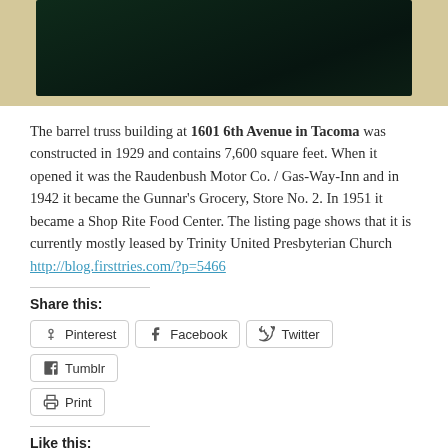[Figure (photo): Partial view of a dark photograph in a tan/beige frame, showing a dark interior or nighttime scene. The photo is cropped at the top of the page.]
The barrel truss building at 1601 6th Avenue in Tacoma was constructed in 1929 and contains 7,600 square feet. When it opened it was the Raudenbush Motor Co. / Gas-Way-Inn and in 1942 it became the Gunnar's Grocery, Store No. 2. In 1951 it became a Shop Rite Food Center. The listing page shows that it is currently mostly leased by Trinity United Presbyterian Church http://blog.firsttries.com/?p=5466
Share this:
Pinterest
Facebook
Twitter
Tumblr
Print
Like this:
Like